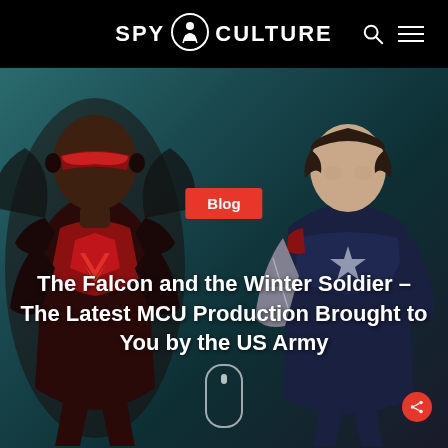SPY CULTURE
[Figure (photo): The Falcon in red and black winged suit on the left, and the Winter Soldier in blue suit on the right, posed against a teal/dark background.]
Blog
The Falcon and the Winter Soldier – The Latest MCU Production Brought to You by the US Army